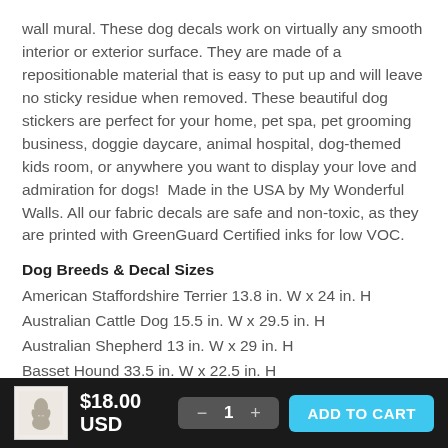wall mural. These dog decals work on virtually any smooth interior or exterior surface. They are made of a repositionable material that is easy to put up and will leave no sticky residue when removed. These beautiful dog stickers are perfect for your home, pet spa, pet grooming business, doggie daycare, animal hospital, dog-themed kids room, or anywhere you want to display your love and admiration for dogs!  Made in the USA by My Wonderful Walls. All our fabric decals are safe and non-toxic, as they are printed with GreenGuard Certified inks for low VOC.
Dog Breeds & Decal Sizes
American Staffordshire Terrier 13.8 in. W x 24 in. H
Australian Cattle Dog 15.5 in. W x 29.5 in. H
Australian Shepherd 13 in. W x 29 in. H
Basset Hound 33.5 in. W x 22.5 in. H
Beagle 22.5 in. W x 20.5 in. H
Bernese Mountain Dog 21.5 in. W x 35.5 in. H
Bichon Frise 14.8 in. W x 15 in. H
$18.00 USD  — 1 +  ADD TO CART